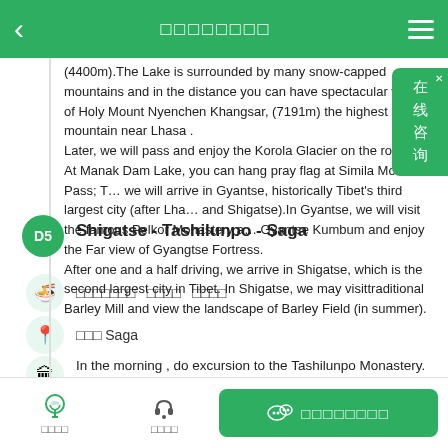□□□□□□□□
(4400m).The Lake is surrounded by many snow-capped mountains and in the distance you can have spectacular views of Holy Mount Nyenchen Khangsar, (7191m) the highest mountain near Lhasa . Later, we will pass and enjoy the Korola Glacier on the roadside; At Manak Dam Lake, you can hang pray flag at Simila Mountain Pass; Then we will arrive in Gyantse, historically Tibet's third largest city (after Lhasa and Shigatse).In Gyantse, we will visit the famous Pelkor Monastery and Gyantse Kumbum and enjoy the Far view of Gyangtse Fortress. After one and a half driving, we arrive in Shigatse, which is the second largest city in Tibet. In Shigatse, we may visittraditional Barley Mill and view the landscape of Barley Field (in summer).
Shigatse - Tashilunpo - Saga
□□□□□□□  □□□□  □□□□
□□□ Saga
In the morning , do excursion to the Tashilunpo Monastery. Drive to Saga.
□□□□  □□□□  □□□□□□□□